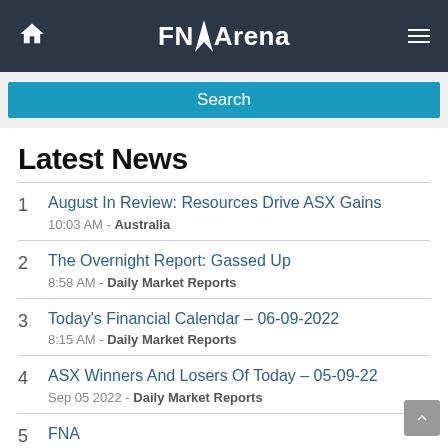FNArena
Search
Latest News
1 August In Review: Resources Drive ASX Gains
10:03 AM - Australia
2 The Overnight Report: Gassed Up
8:58 AM - Daily Market Reports
3 Today's Financial Calendar – 06-09-2022
8:15 AM - Daily Market Reports
4 ASX Winners And Losers Of Today – 05-09-22
Sep 05 2022 - Daily Market Reports
5 FNA… (partially visible)